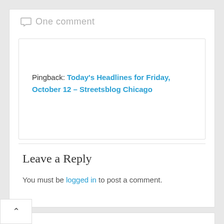One comment
Pingback: Today's Headlines for Friday, October 12 – Streetsblog Chicago
Leave a Reply
You must be logged in to post a comment.
RECENT POSTS
Metra to boost Electric Line service, could send